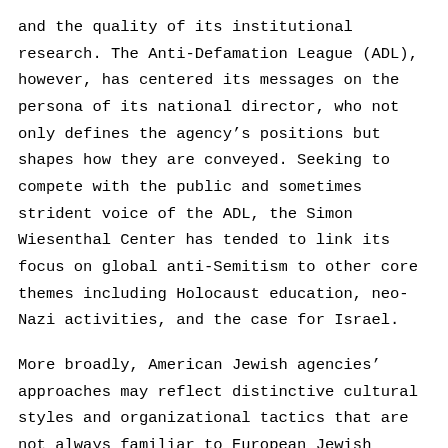and the quality of its institutional research. The Anti-Defamation League (ADL), however, has centered its messages on the persona of its national director, who not only defines the agency's positions but shapes how they are conveyed. Seeking to compete with the public and sometimes strident voice of the ADL, the Simon Wiesenthal Center has tended to link its focus on global anti-Semitism to other core themes including Holocaust education, neo-Nazi activities, and the case for Israel.
More broadly, American Jewish agencies' approaches may reflect distinctive cultural styles and organizational tactics that are not always familiar to European Jewish publics. Indeed, the American Jewish bodies are patterned on advocacy models found in the general American political arena. This pertains both to the more diplomatic style of the American Jewish Committee